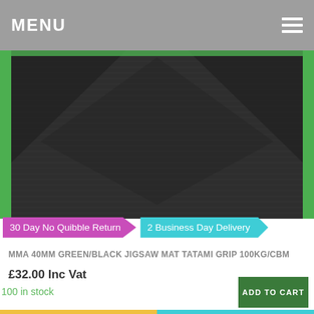MENU
[Figure (photo): Close-up photo of a black and green jigsaw mat with tatami grip texture, showing the interlocking corner pieces with green border trim.]
30 Day No Quibble Return
2 Business Day Delivery
MMA 40MM GREEN/BLACK JIGSAW MAT TATAMI GRIP 100KG/CBM
£32.00 Inc Vat
100 in stock
ADD TO CART